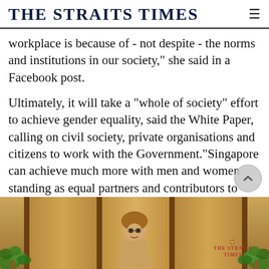THE STRAITS TIMES
workplace is because of - not despite - the norms and institutions in our society," she said in a Facebook post.
Ultimately, it will take a "whole of society" effort to achieve gender equality, said the White Paper, calling on civil society, private organisations and citizens to work with the Government."Singapore can achieve much more with men and women standing as equal partners and contributors to society," it added.
[Figure (photo): A person seated in front of decorative wooden panels with plants on either side, partially visible at the bottom of the page. The Straits Times watermark is visible on the right side of the image.]